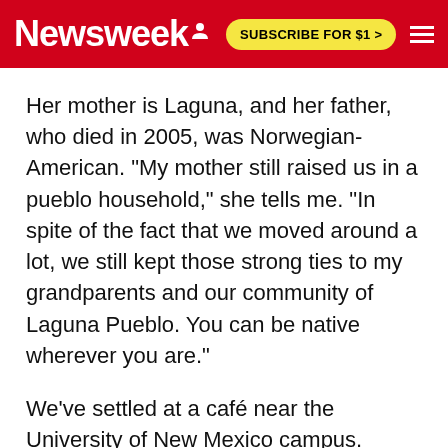Newsweek | SUBSCRIBE FOR $1 >
Her mother is Laguna, and her father, who died in 2005, was Norwegian-American. "My mother still raised us in a pueblo household," she tells me. "In spite of the fact that we moved around a lot, we still kept those strong ties to my grandparents and our community of Laguna Pueblo. You can be native wherever you are."
We've settled at a café near the University of New Mexico campus. Haaland tells me that